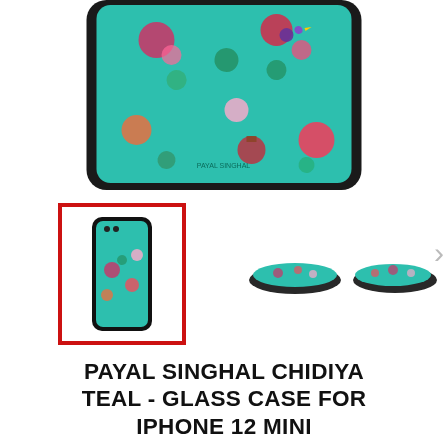[Figure (photo): Close-up of a teal iPhone 12 Mini glass case with colorful floral and bird pattern (Payal Singhal Chidiya design), shown from the back with black bumper frame, cropped at top of page]
[Figure (photo): Thumbnail gallery row showing three views of the Payal Singhal Chidiya Teal iPhone 12 Mini case: front/back view (selected, red border), side-angle view, and rear-angle view. A right chevron arrow is visible at the right edge.]
PAYAL SINGHAL CHIDIYA TEAL - GLASS CASE FOR IPHONE 12 MINI